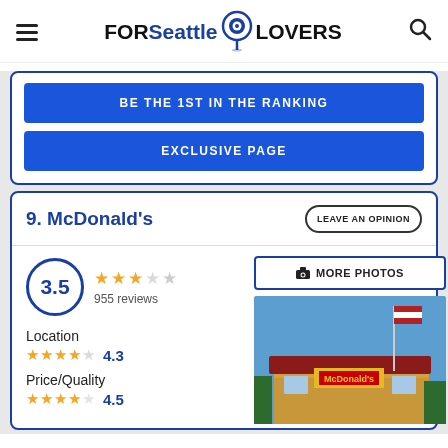FORSeattle LOVERS
BE THE 1ST IN THE RANKING
EXCLUSIVE PAGE
9. McDonald's
LEAVE AN OPINION
3.5 — 955 reviews
Location 4.3
Price/Quality 4.5
[Figure (photo): McDonald's restaurant exterior with flagpole and American flag against blue sky]